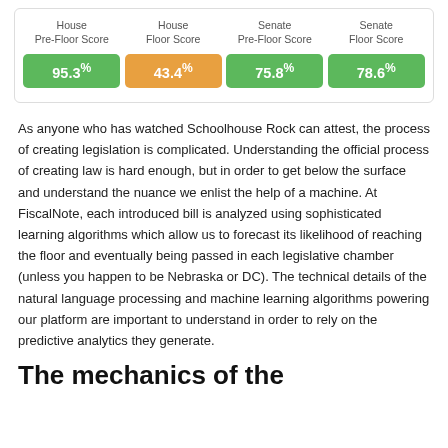| House Pre-Floor Score | House Floor Score | Senate Pre-Floor Score | Senate Floor Score |
| --- | --- | --- | --- |
| 95.3% | 43.4% | 75.8% | 78.6% |
As anyone who has watched Schoolhouse Rock can attest, the process of creating legislation is complicated. Understanding the official process of creating law is hard enough, but in order to get below the surface and understand the nuance we enlist the help of a machine. At FiscalNote, each introduced bill is analyzed using sophisticated learning algorithms which allow us to forecast its likelihood of reaching the floor and eventually being passed in each legislative chamber (unless you happen to be Nebraska or DC). The technical details of the natural language processing and machine learning algorithms powering our platform are important to understand in order to rely on the predictive analytics they generate.
The mechanics of the...